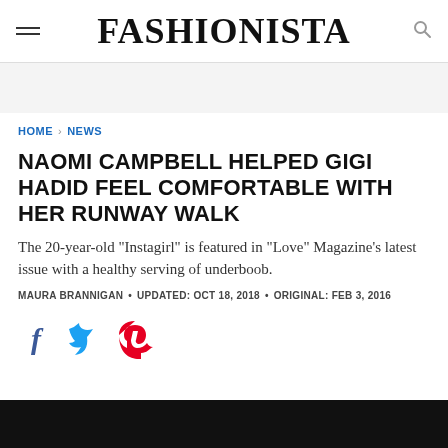FASHIONISTA
HOME > NEWS
NAOMI CAMPBELL HELPED GIGI HADID FEEL COMFORTABLE WITH HER RUNWAY WALK
The 20-year-old "Instagirl" is featured in "Love" Magazine's latest issue with a healthy serving of underboob.
MAURA BRANNIGAN • UPDATED: OCT 18, 2018 • ORIGINAL: FEB 3, 2016
[Figure (other): Social share icons: Facebook, Twitter, Pinterest]
[Figure (other): Black video placeholder at bottom of page]